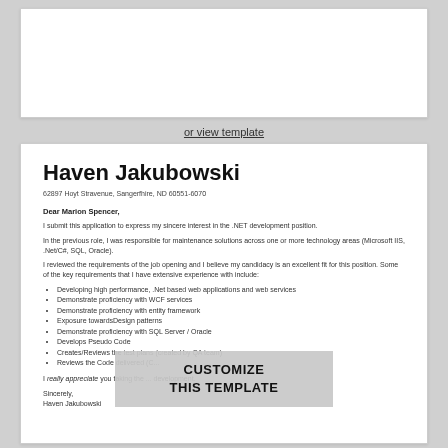[Figure (other): Blank white card (top, partially visible document preview area)]
or view template
Haven Jakubowski
62897 Hoyt Stravenue, Sangerfhire, ND 60551-6070
Dear Marion Spencer,
I submit this application to express my sincere interest in the .NET development position.
In the previous role, I was responsible for maintenance solutions across one or more technology areas (Microsoft IIS, .Net/C#, SQL, Oracle).
I reviewed the requirements of the job opening and I believe my candidacy is an excellent fit for this position. Some of the key requirements that I have extensive experience with include:
Developing high performance, .Net based web applications and web services
Demonstrate proficiency with WCF services
Demonstrate proficiency with entity framework
Exposure towardsDesign patterns
Demonstrate proficiency with SQL Server / Oracle
Develops Pseudo Code
Creates/Reviews the test plans (created by QA team)
Reviews the Code delivered (C...
I really appreciate you taking the ... development.
Sincerely,
Haven Jakubowski
[Figure (other): CUSTOMIZE THIS TEMPLATE overlay button]